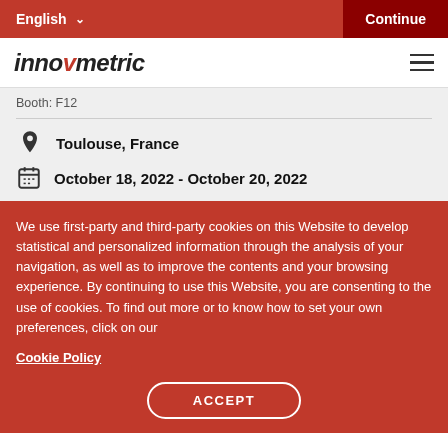English  Continue
[Figure (logo): Innovmetric logo with hamburger menu icon]
Booth: F12
Toulouse, France
October 18, 2022 - October 20, 2022
We use first-party and third-party cookies on this Website to develop statistical and personalized information through the analysis of your navigation, as well as to improve the contents and your browsing experience. By continuing to use this Website, you are consenting to the use of cookies. To find out more or to know how to set your own preferences, click on our
Cookie Policy
ACCEPT